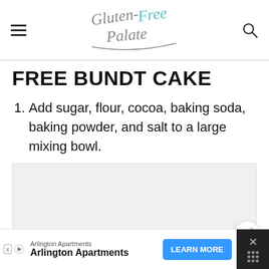Gluten-Free Palate (logo with hamburger menu and search icon)
FREE BUNDT CAKE
1. Add sugar, flour, cocoa, baking soda, baking powder, and salt to a large mixing bowl.
[Figure (other): Light gray placeholder image area with a share button overlay]
Ad: Arlington Apartments — LEARN MORE